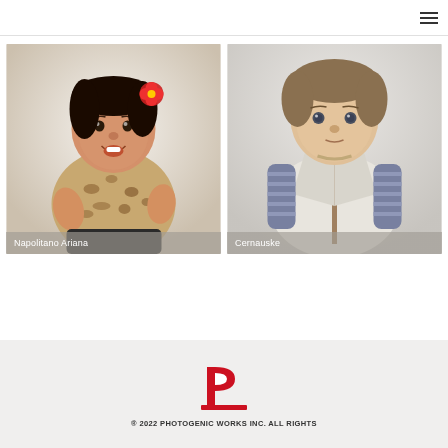Navigation menu
[Figure (photo): Baby girl smiling, wearing leopard print top with red flower headband, named Napolitano Ariana]
Napolitano Ariana
[Figure (photo): Baby boy in cream fleece vest with striped long sleeve shirt, named Cernauske]
Cernauske
[Figure (logo): Photogenic Works Inc logo - red P letter mark]
® 2022 PHOTOGENIC WORKS INC. ALL RIGHTS